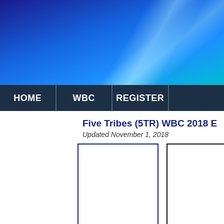[Figure (illustration): Blue gradient website header banner with diagonal light streaks]
HOME | WBC | REGISTER
Five Tribes (5TR) WBC 2018 E
Updated November 1, 2018
[Figure (other): Empty white card box with blue border]
[Figure (other): Empty white card box with black border]
70 Players
Connie Vogt